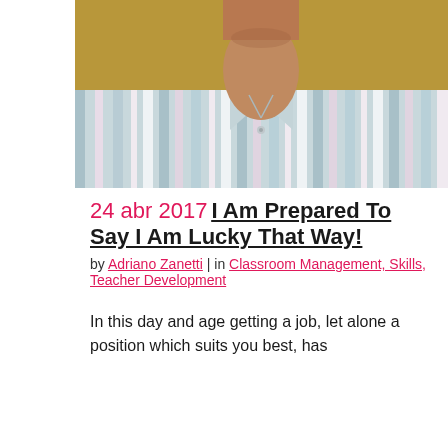[Figure (photo): Close-up photo of a man wearing a striped collared shirt, cropped from shoulders up, partially showing neck and chin area. Background is a warm tan/yellow-brown color.]
24 abr 2017 I Am Prepared To Say I Am Lucky That Way!
by Adriano Zanetti | in Classroom Management, Skills, Teacher Development
In this day and age getting a job, let alone a position which suits you best, has